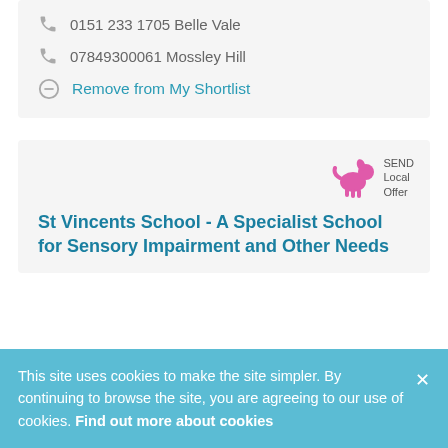0151 233 1705 Belle Vale
07849300061 Mossley Hill
Remove from My Shortlist
[Figure (logo): Pink dog logo with SEND Local Offer text]
St Vincents School - A Specialist School for Sensory Impairment and Other Needs
This site uses cookies to make the site simpler. By continuing to browse the site, you are agreeing to our use of cookies. Find out more about cookies